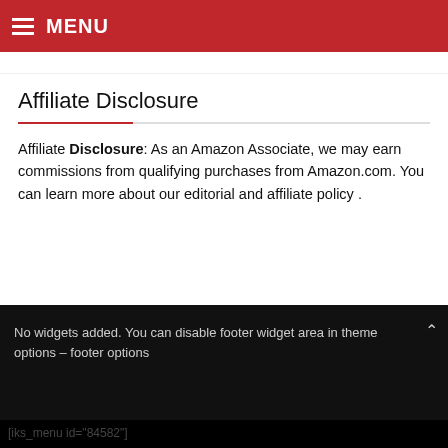MENU
(navigation links)
Affiliate Disclosure
Affiliate Disclosure: As an Amazon Associate, we may earn commissions from qualifying purchases from Amazon.com. You can learn more about our editorial and affiliate policy .
No widgets added. You can disable footer widget area in theme options – footer options
[iks_menu id="84582"]